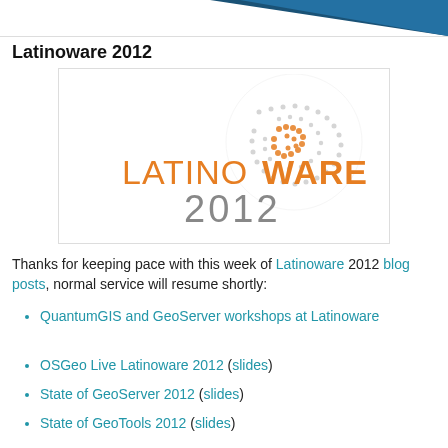[Figure (logo): Blue triangle/arrow header graphic at top of page]
Latinoware 2012
[Figure (logo): Latinoware 2012 logo with globe made of dots, text 'LATINOWARE' in orange and bold, '2012' in gray]
Thanks for keeping pace with this week of Latinoware 2012 blog posts, normal service will resume shortly:
QuantumGIS and GeoServer workshops at Latinoware
OSGeo Live Latinoware 2012 (slides)
State of GeoServer 2012 (slides)
State of GeoTools 2012 (slides)